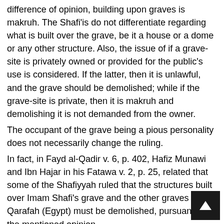difference of opinion, building upon graves is makruh. The Shafi'is do not differentiate regarding what is built over the grave, be it a house or a dome or any other structure. Also, the issue of if a grave-site is privately owned or provided for the public's use is considered. If the latter, then it is unlawful, and the grave should be demolished; while if the grave-site is private, then it is makruh and demolishing it is not demanded from the owner.
The occupant of the grave being a pious personality does not necessarily change the ruling.
In fact, in Fayd al-Qadir v. 6, p. 402, Hafiz Munawi and Ibn Hajar in his Fatawa v. 2, p. 25, related that some of the Shafiyyah ruled that the structures built over Imam Shafi's grave and the other graves in Qarafah (Egypt) must be demolished, pursuant to the mentioned opinion.